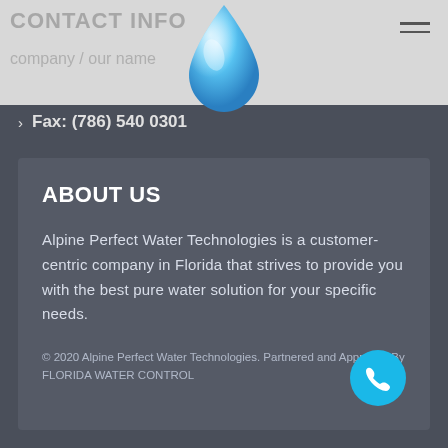[Figure (logo): Water drop logo icon in blue gradient, centered in header]
Fax: (786) 540 0301
ABOUT US
Alpine Perfect Water Technologies is a customer-centric company in Florida that strives to provide you with the best pure water solution for your specific needs.
© 2020 Alpine Perfect Water Technologies. Partnered and Approved By FLORIDA WATER CONTROL